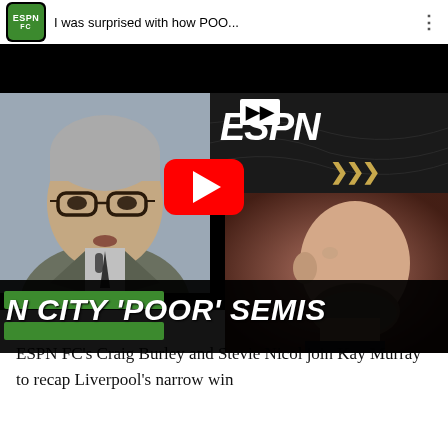[Figure (screenshot): YouTube video thumbnail from ESPN FC channel showing two people (a pundit on the left, a manager on the right) with title overlay 'N CITY POOR SEMIS' and a red play button in the center. Top bar shows ESPN FC logo and title 'I was surprised with how POO...']
ESPN FC's Craig Burley and Stevie Nicol join Kay Murray to recap Liverpool's narrow win